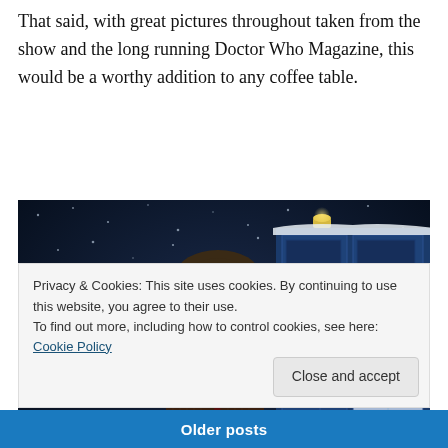That said, with great pictures throughout taken from the show and the long running Doctor Who Magazine, this would be a worthy addition to any coffee table.
[Figure (photo): The Tenth Doctor (David Tennant) standing in front of the TARDIS in a snowy scene, holding a sonic screwdriver, wearing a pinstripe suit and tie. The TARDIS sign reads 'POLICE BOX'.]
Privacy & Cookies: This site uses cookies. By continuing to use this website, you agree to their use.
To find out more, including how to control cookies, see here: Cookie Policy
Older posts